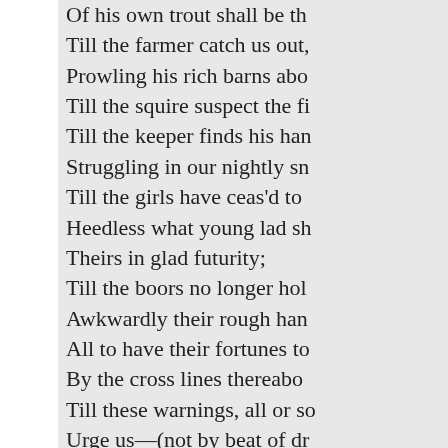Of his own trout shall be th[e]
Till the farmer catch us out,
Prowling his rich barns abo[ut]
Till the squire suspect the fi[rst]
Till the keeper finds his han[d]
Struggling in our nightly sn[ares]
Till the girls have ceas'd to [w]
Heedless what young lad sh[all]
Theirs in glad futurity;
Till the boors no longer hol[d]
Awkwardly their rough han[ds]
All to have their fortunes to[ld]
By the cross lines thereabo[ut]
Till these warnings, all or so[me]
Urge us—(not by beat of dr[um]
On our careless march to ro[am]
The copse shall be our leafy[]
If ever you should come to []
(Where among other relics []